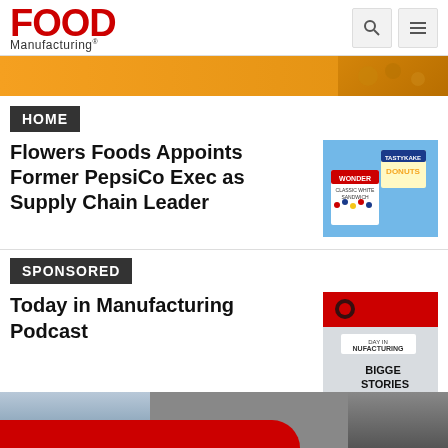FOOD Manufacturing
[Figure (photo): Partial image banner at top, gold/orange background with decorative pattern]
HOME
Flowers Foods Appoints Former PepsiCo Exec as Supply Chain Leader
[Figure (photo): Flowers Foods product image showing Wonder Bread and Tastykake products on blue background]
SPONSORED
Today in Manufacturing Podcast
[Figure (photo): Today in Manufacturing Podcast promotional image with BIGGEST STORIES IN MANUFACTURING text]
[Figure (photo): Bottom advertisement banner strip with red curved element and partial images]